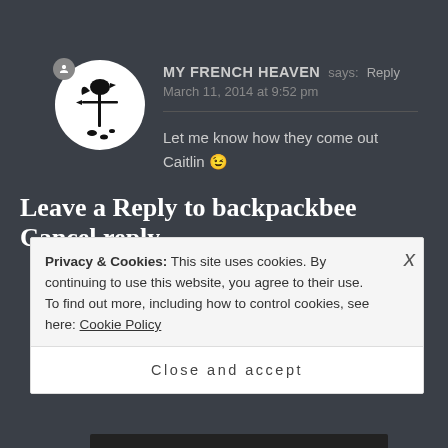[Figure (illustration): Circular avatar with white background showing a black rooster/weathervane silhouette logo for 'My French Heaven']
MY FRENCH HEAVEN says: Reply
March 11, 2014 at 9:52 pm

Let me know how they come out Caitlin 😉
Leave a Reply to backpackbee Cancel reply
Privacy & Cookies: This site uses cookies. By continuing to use this website, you agree to their use.
To find out more, including how to control cookies, see here: Cookie Policy
Close and accept